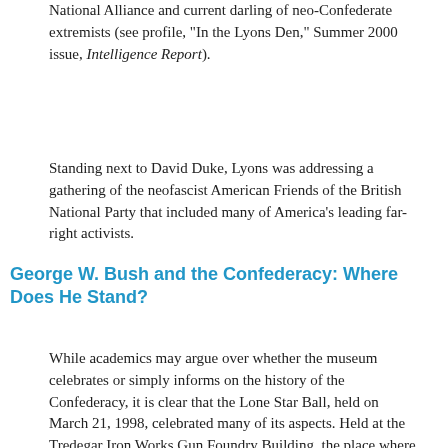National Alliance and current darling of neo-Confederate extremists (see profile, "In the Lyons Den," Summer 2000 issue, Intelligence Report).
Standing next to David Duke, Lyons was addressing a gathering of the neofascist American Friends of the British National Party that included many of America's leading far-right activists.
George W. Bush and the Confederacy: Where Does He Stand?
While academics may argue over whether the museum celebrates or simply informs on the history of the Confederacy, it is clear that the Lone Star Ball, held on March 21, 1998, celebrated many of its aspects. Held at the Tredegar Iron Works Gun Foundry Building, the place where Civil War arms were produced for